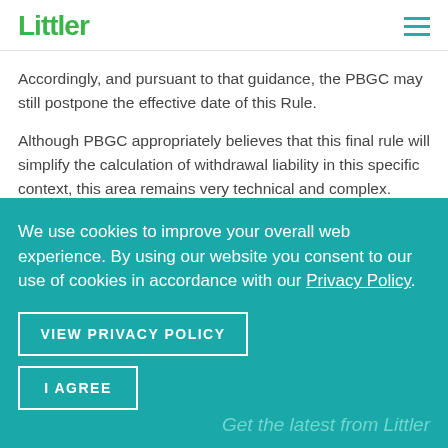Littler
Accordingly, and pursuant to that guidance, the PBGC may still postpone the effective date of this Rule.
Although PBGC appropriately believes that this final rule will simplify the calculation of withdrawal liability in this specific context, this area remains very technical and complex. Employers contemplating withdrawing from a multiemployer plan should consult experienced ERISA counsel.
We use cookies to improve your overall web experience. By using our website you consent to our use of cookies in accordance with our Privacy Policy.
VIEW PRIVACY POLICY
I AGREE
Get the latest from Littler